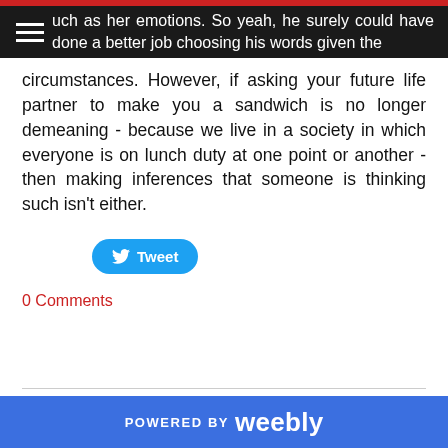...uch as her emotions. So yeah, he surely could have done a better job choosing his words given the
circumstances. However, if asking your future life partner to make you a sandwich is no longer demeaning - because we live in a society in which everyone is on lunch duty at one point or another - then making inferences that someone is thinking such isn't either.
[Figure (other): Tweet button with Twitter bird icon]
0 Comments
POWERED BY weebly